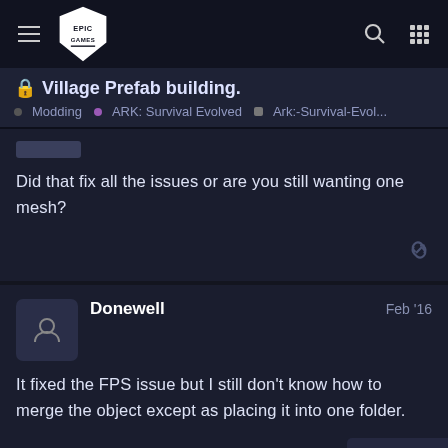Village Prefab building. — Modding • ARK: Survival Evolved • Ark:-Survival-Evol...
🔒 Village Prefab building.
Modding • ARK: Survival Evolved • Ark:-Survival-Evol...
Did that fix all the issues or are you still wanting one mesh?
Donewell Feb '16
It fixed the FPS issue but I still don't know how to merge the object except as placing it into one folder.
5 / 13